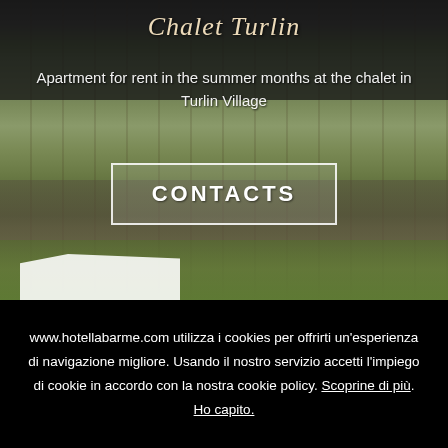[Figure (photo): Photograph of Chalet Turlin building exterior with stone wall, balcony with flowers, and surrounding greenery]
Chalet Turlin
Apartment for rent in the summer months at the chalet in Turlin Village
CONTACTS
www.hotellabarme.com utilizza i cookies per offrirti un'esperienza di navigazione migliore. Usando il nostro servizio accetti l'impiego di cookie in accordo con la nostra cookie policy. Scoprine di più. Ho capito.